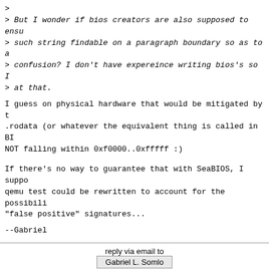> 
> But I wonder if bios creators are also supposed to ensure such string findable on a paragraph boundary so as to avoid confusion? I don't have expereince writing bios's so I at that.
I guess on physical hardware that would be mitigated by the .rodata (or whatever the equivalent thing is called in BI NOT falling within 0xf0000..0xfffff :)
If there's no way to guarantee that with SeaBIOS, I suppose qemu test could be rewritten to account for the possibili "false positive" signatures...
--Gabriel
reply via email to
Gabriel L. Somlo
[Prev in Thread] Current Thread [Next in Thread]
Re: [Qemu-devel] [SeaBIOS] [PATCH] smbios: ensure comparison SMBIOS string can't be paragraph aligned, Bruce Rogers, 2015/03/31
Re: [Qemu-devel] [SeaBIOS] [PATCH] smbios: